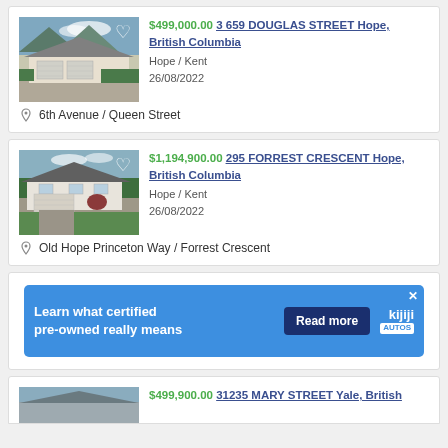[Figure (screenshot): Real estate listing for 3 659 Douglas Street Hope, British Columbia - showing house photo with price $499,000.00, location Hope/Kent, date 26/08/2022, and nearby intersection 6th Avenue / Queen Street]
[Figure (screenshot): Real estate listing for 295 Forrest Crescent Hope, British Columbia - showing house photo with price $1,194,900.00, location Hope/Kent, date 26/08/2022, and nearby intersection Old Hope Princeton Way / Forrest Crescent]
[Figure (screenshot): Kijiji Autos advertisement banner - Learn what certified pre-owned really means, Read more button, Kijiji Autos logo]
[Figure (screenshot): Partial real estate listing for 31235 Mary Street Yale, British Columbia - showing partial house photo and price $499,900.00 (cut off at bottom)]